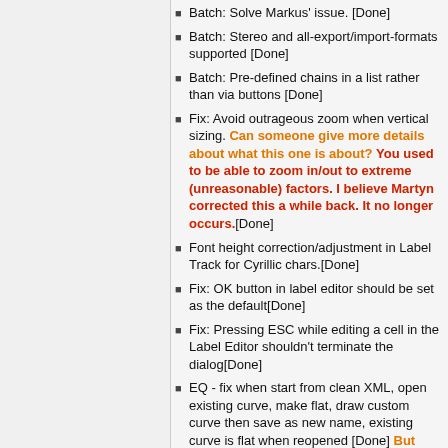Batch: Solve Markus' issue. [Done]
Batch: Stereo and all-export/import-formats supported [Done]
Batch: Pre-defined chains in a list rather than via buttons [Done]
Fix: Avoid outrageous zoom when vertical sizing. Can someone give more details about what this one is about? You used to be able to zoom in/out to extreme (unreasonable) factors. I believe Martyn corrected this a while back. It no longer occurs.[Done]
Font height correction/adjustment in Label Track for Cyrillic chars.[Done]
Fix: OK button in label editor should be set as the default[Done]
Fix: Pressing ESC while editing a cell in the Label Editor shouldn't terminate the dialog[Done]
EQ - fix when start from clean XML, open existing curve, make flat, draw custom curve then save as new name, existing curve is flat when reopened [Done] But